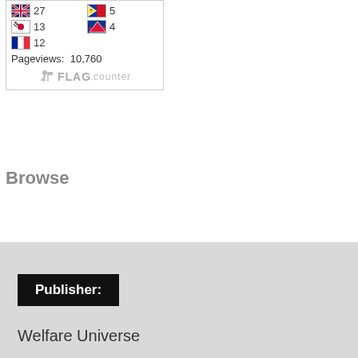[Figure (other): Flag counter widget showing country flags with visitor counts: UK 27, Philippines 5, Korea 13, Nepal 4, France 12. Pageviews: 10,760. FLAG counter logo at bottom.]
Browse
Publisher:
Welfare Universe